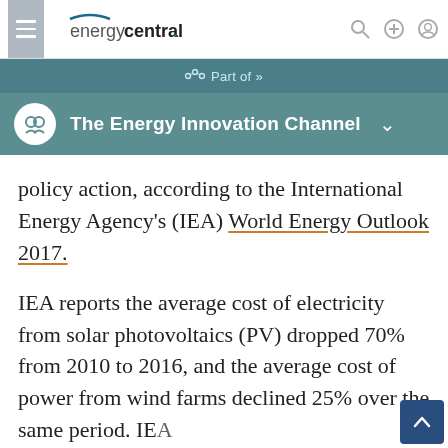energycentral. Part of »  The Energy Innovation Channel
policy action, according to the International Energy Agency's (IEA) World Energy Outlook 2017.
IEA reports the average cost of electricity from solar photovoltaics (PV) dropped 70% from 2010 to 2016, and the average cost of power from wind farms declined 25% over the same period. IEA